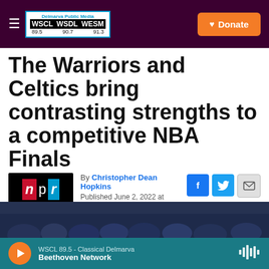Delmarva Public Media WSCL WSDL WESM 89.5 90.7 91.3 | Donate
The Warriors and Celtics bring contrasting strengths to a competitive NBA Finals
By Christopher Dean Hopkins
Published June 2, 2022 at 1:33 PM EDT
[Figure (photo): Crowd photo at an NBA arena, dark background with fans visible]
WSCL 89.5 - Classical Delmarva | Beethoven Network